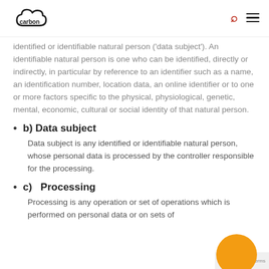carbon [logo]
identified or identifiable natural person ('data subject'). An identifiable natural person is one who can be identified, directly or indirectly, in particular by reference to an identifier such as a name, an identification number, location data, an online identifier or to one or more factors specific to the physical, physiological, genetic, mental, economic, cultural or social identity of that natural person.
b) Data subject
Data subject is any identified or identifiable natural person, whose personal data is processed by the controller responsible for the processing.
c)   Processing
Processing is any operation or set of operations which is performed on personal data or on sets of